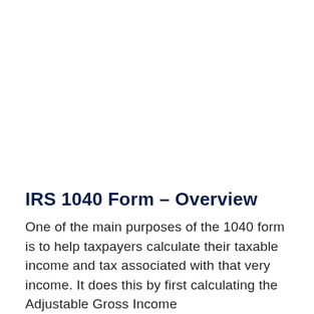IRS 1040 Form – Overview
One of the main purposes of the 1040 form is to help taxpayers calculate their taxable income and tax associated with that very income. It does this by first calculating the Adjustable Gross Income